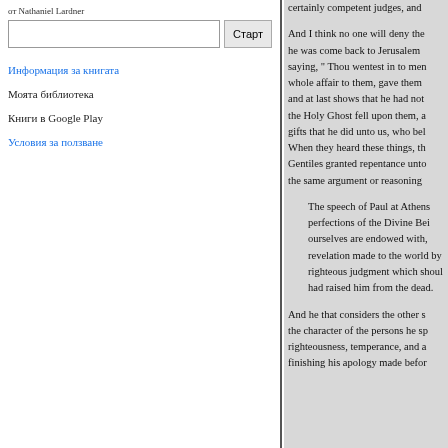от Nathaniel Lardner
Информация за книгата
Моята библиотека
Книги в Google Play
Условия за ползване
certainly competent judges, and And I think no one will deny the he was come back to Jerusalem saying, " Thou wentest in to men whole affair to them, gave them and at last shows that he had not the Holy Ghost fell upon them, a gifts that he did unto us, who be When they heard these things, th Gentiles granted repentance unto the same argument or reasoning The speech of Paul at Athens perfections of the Divine Bei ourselves are endowed with, revelation made to the world by righteous judgment which shou had raised him from the dead. And he that considers the other s the character of the persons he sp righteousness, temperance, and a finishing his apology made befor